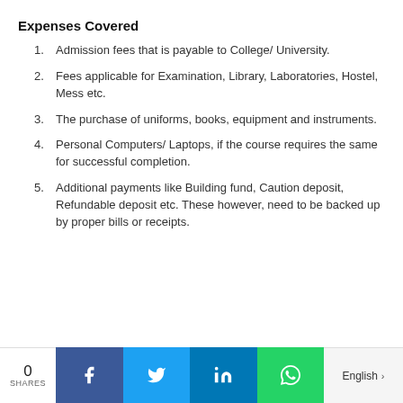Expenses Covered
Admission fees that is payable to College/ University.
Fees applicable for Examination, Library, Laboratories, Hostel, Mess etc.
The purchase of uniforms, books, equipment and instruments.
Personal Computers/ Laptops, if the course requires the same for successful completion.
Additional payments like Building fund, Caution deposit, Refundable deposit etc. These however, need to be backed up by proper bills or receipts.
0 SHARES | Facebook | Twitter | LinkedIn | WhatsApp | English